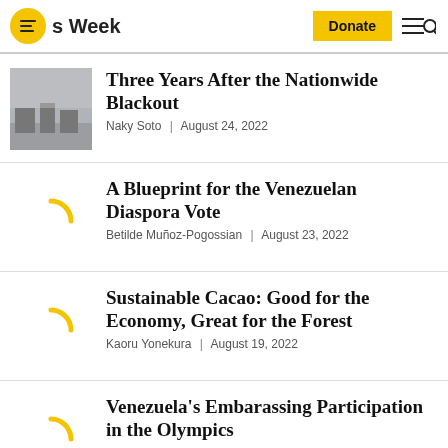s Week | Donate
Three Years After the Nationwide Blackout — Naky Soto | August 24, 2022
A Blueprint for the Venezuelan Diaspora Vote — Betilde Muñoz-Pogossian | August 23, 2022
Sustainable Cacao: Good for the Economy, Great for the Forest — Kaoru Yonekura | August 19, 2022
Venezuela's Embarassing Participation in the Olympics